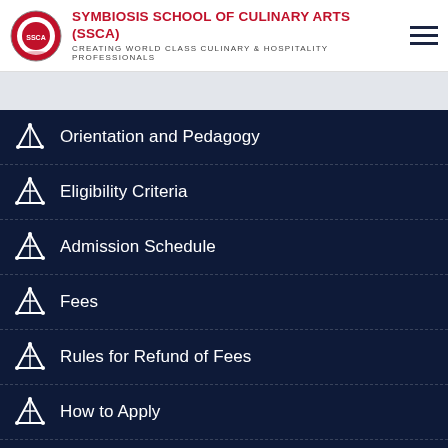SYMBIOSIS SCHOOL OF CULINARY ARTS (SSCA) — CREATING WORLD CLASS CULINARY & HOSPITALITY PROFESSIONALS
Orientation and Pedagogy
Eligibility Criteria
Admission Schedule
Fees
Rules for Refund of Fees
How to Apply
Payment Guidelines
Scholarships
Stakeholder Fee
CAUTION NOTICE